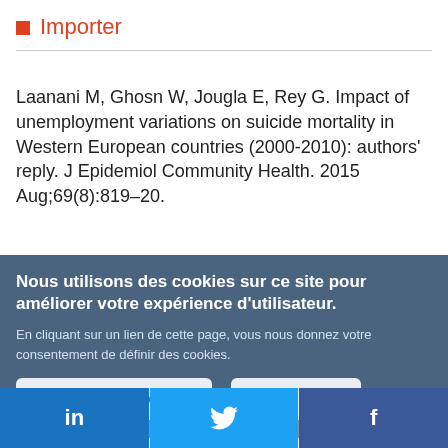Importer
Laanani M, Ghosn W, Jougla E, Rey G. Impact of unemployment variations on suicide mortality in Western European countries (2000-2010): authors' reply. J Epidemiol Community Health. 2015 Aug;69(8):819–20.
Nous utilisons des cookies sur ce site pour améliorer votre expérience d'utilisateur.
En cliquant sur un lien de cette page, vous nous donnez votre consentement de définir des cookies.
Oui, je suis d'accord
Plus d'infos